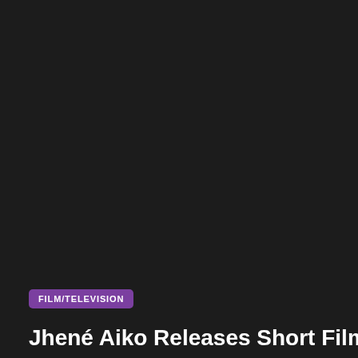[Figure (photo): Dark background image area, predominantly black/very dark gray, taking up most of the page]
FILM/TELEVISION
Jhené Aiko Releases Short Film: Trip